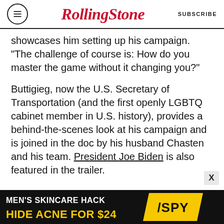Rolling Stone  SUBSCRIBE
showcases him setting up his campaign. “The challenge of course is: How do you master the game without it changing you?”
Buttigieg, now the U.S. Secretary of Transportation (and the first openly LGBTQ cabinet member in U.S. history), provides a behind-the-scenes look at his campaign and is joined in the doc by his husband Chasten and his team. President Joe Biden is also featured in the trailer.
Win or lose their story changed history. #MayorPetaDoc is coming to
[Figure (screenshot): Advertisement banner: MEN’S SKINCARE HACK HIDE ACNE FOR $24 with SPY logo]